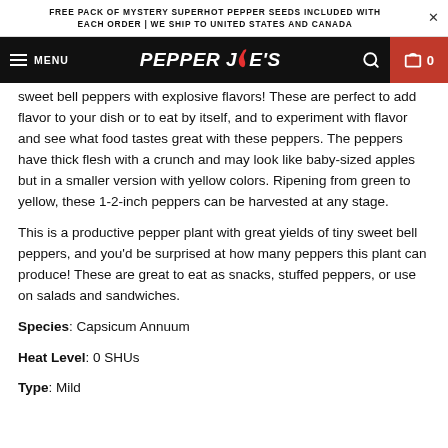FREE PACK OF MYSTERY SUPERHOT PEPPER SEEDS INCLUDED WITH EACH ORDER | WE SHIP TO UNITED STATES AND CANADA
[Figure (screenshot): Pepper Joe's website navigation bar with hamburger menu, logo, search icon, and cart showing 0 items]
sweet bell peppers with explosive flavors! These are perfect to add flavor to your dish or to eat by itself, and to experiment with flavor and see what food tastes great with these peppers. The peppers have thick flesh with a crunch and may look like baby-sized apples but in a smaller version with yellow colors. Ripening from green to yellow, these 1-2-inch peppers can be harvested at any stage.
This is a productive pepper plant with great yields of tiny sweet bell peppers, and you'd be surprised at how many peppers this plant can produce! These are great to eat as snacks, stuffed peppers, or use on salads and sandwiches.
Species: Capsicum Annuum
Heat Level: 0 SHUs
Type: Mild